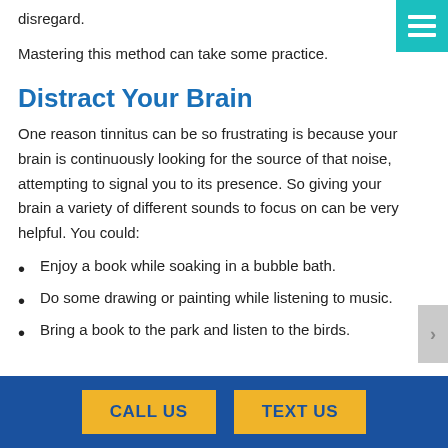disregard.
Mastering this method can take some practice.
Distract Your Brain
One reason tinnitus can be so frustrating is because your brain is continuously looking for the source of that noise, attempting to signal you to its presence. So giving your brain a variety of different sounds to focus on can be very helpful. You could:
Enjoy a book while soaking in a bubble bath.
Do some drawing or painting while listening to music.
Bring a book to the park and listen to the birds.